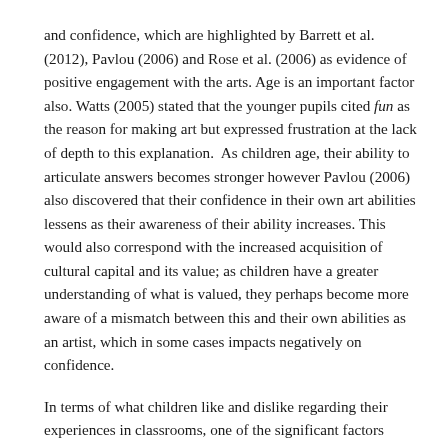and confidence, which are highlighted by Barrett et al. (2012), Pavlou (2006) and Rose et al. (2006) as evidence of positive engagement with the arts. Age is an important factor also. Watts (2005) stated that the younger pupils cited fun as the reason for making art but expressed frustration at the lack of depth to this explanation. As children age, their ability to articulate answers becomes stronger however Pavlou (2006) also discovered that their confidence in their own art abilities lessens as their awareness of their ability increases. This would also correspond with the increased acquisition of cultural capital and its value; as children have a greater understanding of what is valued, they perhaps become more aware of a mismatch between this and their own abilities as an artist, which in some cases impacts negatively on confidence.
In terms of what children like and dislike regarding their experiences in classrooms, one of the significant factors